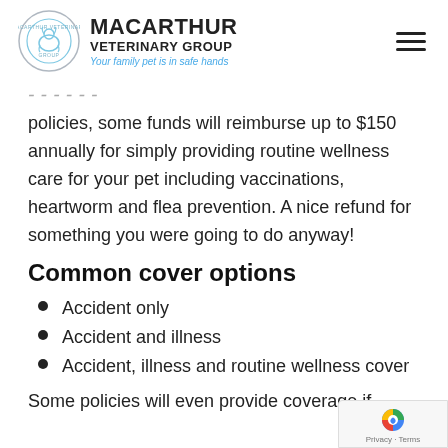MACARTHUR VETERINARY GROUP — Your family pet is in safe hands
policies, some funds will reimburse up to $150 annually for simply providing routine wellness care for your pet including vaccinations, heartworm and flea prevention. A nice refund for something you were going to do anyway!
Common cover options
Accident only
Accident and illness
Accident, illness and routine wellness cover
Some policies will even provide coverage if.